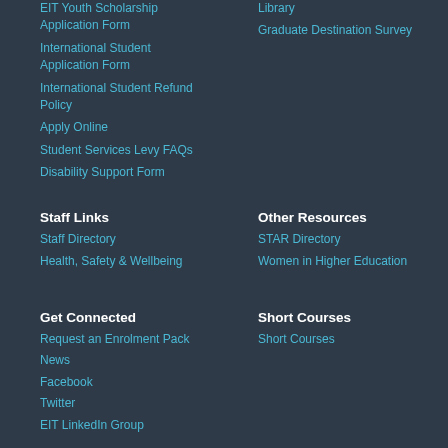EIT Youth Scholarship Application Form
International Student Application Form
International Student Refund Policy
Apply Online
Student Services Levy FAQs
Disability Support Form
Library
Graduate Destination Survey
Staff Links
Staff Directory
Health, Safety & Wellbeing
Other Resources
STAR Directory
Women in Higher Education
Get Connected
Request an Enrolment Pack
News
Facebook
Twitter
EIT LinkedIn Group
Short Courses
Short Courses